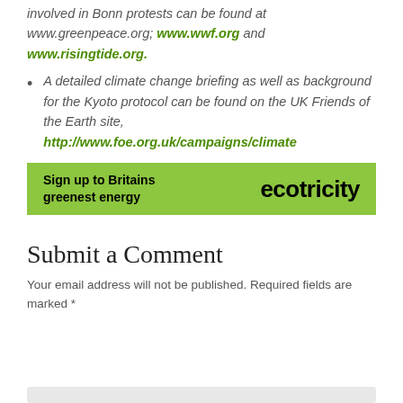involved in Bonn protests can be found at www.greenpeace.org; www.wwf.org and www.risingtide.org.
A detailed climate change briefing as well as background for the Kyoto protocol can be found on the UK Friends of the Earth site, http://www.foe.org.uk/campaigns/climate
[Figure (other): Ecotricity banner ad: green background with text 'Sign up to Britains greenest energy' on left and 'ecotricity' logo in bold on right]
Submit a Comment
Your email address will not be published. Required fields are marked *